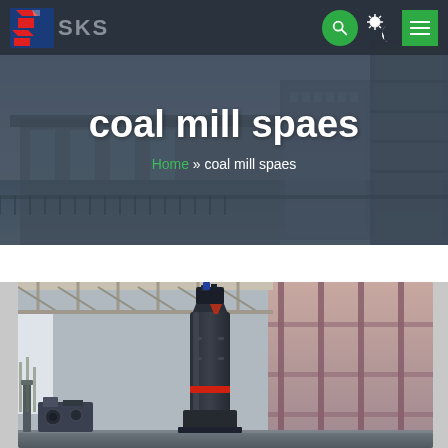[Figure (screenshot): SKS company logo with red and blue angular S shape and grey SKS text]
SKS — navigation bar with search, theme toggle, and menu icons
coal mill spaes
Home » coal mill spaes
[Figure (photo): Industrial coal mill equipment inside a large warehouse/factory building with steel roof trusses, a dark cylindrical tower with a red ring, and industrial machinery in the background with pink/red structural beams.]